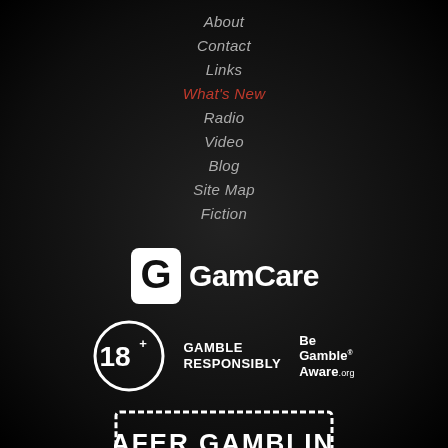About
Contact
Links
What's New
Radio
Video
Blog
Site Map
Fiction
[Figure (logo): GamCare logo with stylized G icon and GamCare text in white]
[Figure (logo): 18+ Gamble Responsibly badge and Be Gamble Aware.org logo]
[Figure (logo): Safer Gambling stamp/badge in white on dark background]